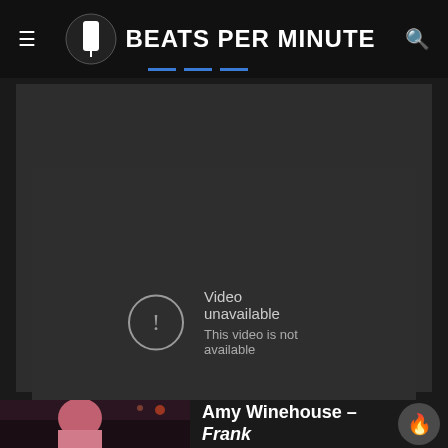BEATS PER MINUTE
[Figure (screenshot): Video unavailable error screen with YouTube player showing 'Video unavailable - This video is not available']
Video unavailable
This video is not available
[Figure (photo): Photo of Amy Winehouse in a pink top, dark background]
Amy Winehouse – Frank